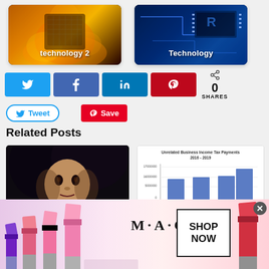[Figure (photo): Two image cards side by side: left card shows a burning object with text 'technology 2', right card shows a circuit board with text 'Technology']
[Figure (screenshot): Social media share buttons row: Twitter (blue), Facebook (blue), LinkedIn (blue), Pinterest (red), and share count showing 0 SHARES]
[Figure (screenshot): Tweet and Save social action buttons]
Related Posts
[Figure (photo): Dark portrait photo of a person/doll with dark hair]
[Figure (bar-chart): Bar chart showing Unrelated Business Income Tax Payments 2016-2019]
[Figure (advertisement): M·A·C cosmetics advertisement with lipstick products and SHOP NOW button]